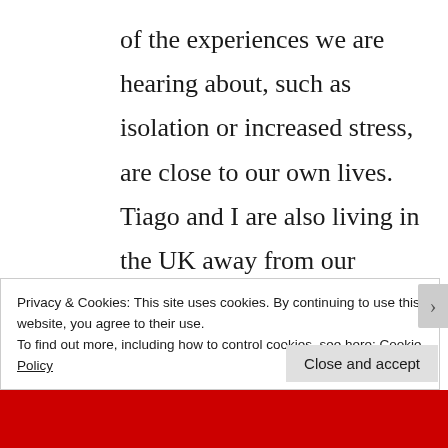of the experiences we are hearing about, such as isolation or increased stress, are close to our own lives. Tiago and I are also living in the UK away from our families during the pandemic, who are in Brazil and Australia respectively. Our ‘family’ here is very much other queer people, a kind of chosen family away from
Privacy & Cookies: This site uses cookies. By continuing to use this website, you agree to their use.
To find out more, including how to control cookies, see here: Cookie Policy
Close and accept